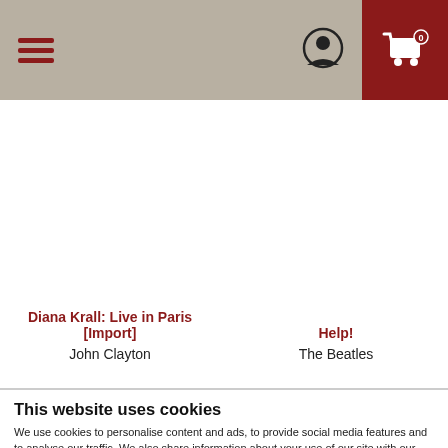Navigation header with hamburger menu, user icon, and shopping cart
Diana Krall: Live in Paris [Import]
John Clayton
Help!
The Beatles
This website uses cookies
We use cookies to personalise content and ads, to provide social media features and to analyse our traffic. We also share information about your use of our site with our social media, advertising and analytics partners who may combine it with other information that you've provided to them or that they've collected from your use of their services.
OK
Show details